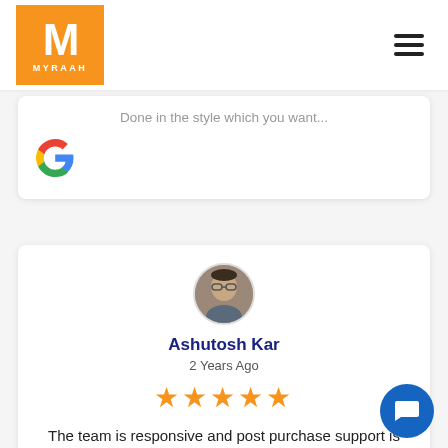[Figure (logo): Myraah logo: orange square with white M and MYRAAH text]
Done in the style which you want...
[Figure (logo): Google G logo in colorful circular style]
[Figure (photo): Circular avatar photo of Ashutosh Kar, a man wearing glasses]
Ashutosh Kar
2 Years Ago
[Figure (other): 5 orange star rating icons]
The team is responsive and post purchase support is good